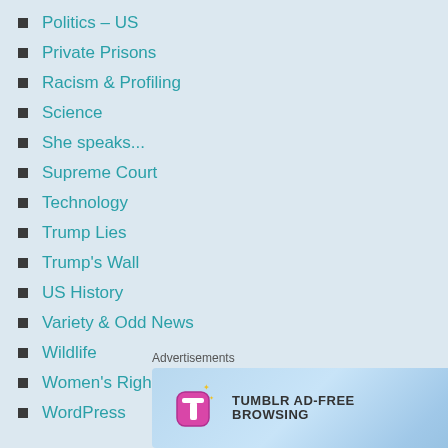Politics – US
Private Prisons
Racism & Profiling
Science
She speaks...
Supreme Court
Technology
Trump Lies
Trump's Wall
US History
Variety & Odd News
Wildlife
Women's Rights
WordPress
Advertisements
[Figure (other): Tumblr Ad-Free Browsing advertisement banner showing $39.99 a year or $4.99 a month]